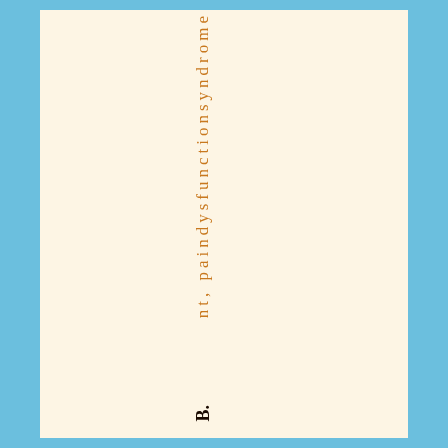nt, paindysfunctionsyndrome
B.